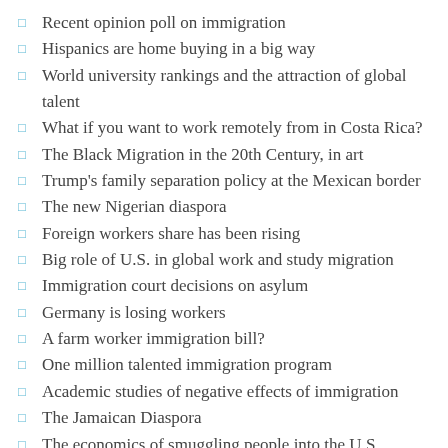Recent opinion poll on immigration
Hispanics are home buying in a big way
World university rankings and the attraction of global talent
What if you want to work remotely from in Costa Rica?
The Black Migration in the 20th Century, in art
Trump's family separation policy at the Mexican border
The new Nigerian diaspora
Foreign workers share has been rising
Big role of U.S. in global work and study migration
Immigration court decisions on asylum
Germany is losing workers
A farm worker immigration bill?
One million talented immigration program
Academic studies of negative effects of immigration
The Jamaican Diaspora
The economics of smuggling people into the U.S.
The results of skilled migration
Long term care for the elderly and international migration